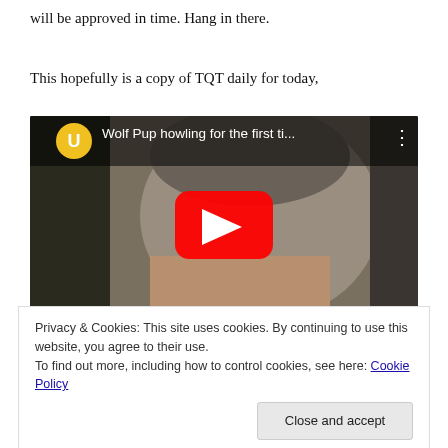will be approved in time. Hang in there.
This hopefully is a copy of TQT daily for today,
[Figure (screenshot): YouTube video thumbnail showing a wolf pup being held close to a person's face. Title reads 'Wolf Pup howling for the first ti...' with a YouTube play button overlay and channel icon showing letter U in yellow circle.]
Privacy & Cookies: This site uses cookies. By continuing to use this website, you agree to their use.
To find out more, including how to control cookies, see here: Cookie Policy
popped into my feed today and given that the fight we